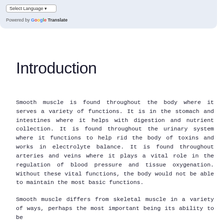Select Language | Powered by Google Translate
Introduction
Smooth muscle is found throughout the body where it serves a variety of functions. It is in the stomach and intestines where it helps with digestion and nutrient collection. It is found throughout the urinary system where it functions to help rid the body of toxins and works in electrolyte balance. It is found throughout arteries and veins where it plays a vital role in the regulation of blood pressure and tissue oxygenation. Without these vital functions, the body would not be able to maintain the most basic functions.
Smooth muscle differs from skeletal muscle in a variety of ways, perhaps the most important being its ability to be...